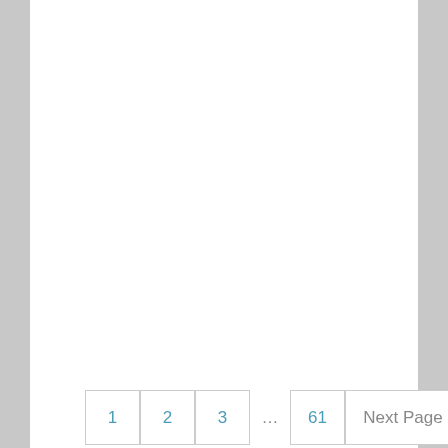1  2  3  ...  61  Next Page »
Recent Posts
What You Need to Know About World Children's Day
2 Types of Warm Up That Must Be Done